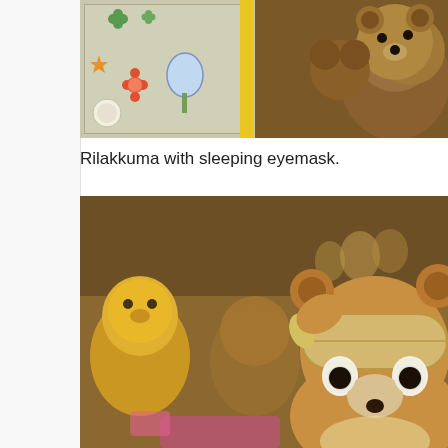[Figure (photo): Top portion of a photo showing a sticker display box on the left with colorful stickers (clovers, stars, flowers), a yellow vertical bar/divider in the middle, and brown teddy bear plush toys stacked on the right side.]
Rilakkuma with sleeping eyemask.
[Figure (photo): A Rilakkuma bear plush toy wearing a sleeping eyemask on its head, photographed in close-up with other plush toys (including yellow characters resembling Winnie the Pooh or Korilakkuma) blurred in the background.]